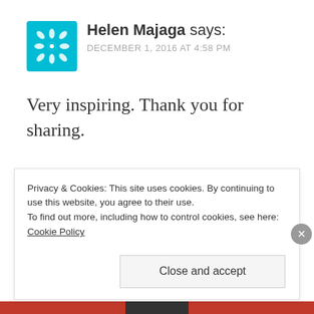Helen Majaga says: DECEMBER 1, 2016 AT 4:58 PM
Very inspiring. Thank you for sharing.
★ Liked by 3 people
Privacy & Cookies: This site uses cookies. By continuing to use this website, you agree to their use.
To find out more, including how to control cookies, see here: Cookie Policy
Close and accept